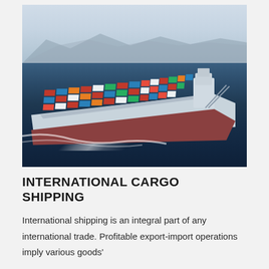[Figure (photo): Aerial view of a large international cargo container ship sailing through dark blue ocean water, loaded with colorful stacked shipping containers (red, blue, orange, white, green), with white wake trailing behind, mountains visible in the far background under an overcast sky.]
INTERNATIONAL CARGO SHIPPING
International shipping is an integral part of any international trade. Profitable export-import operations imply various goods'